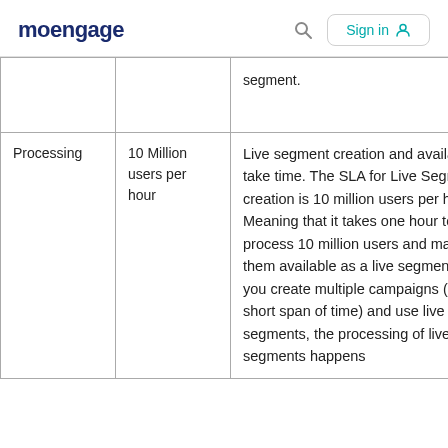moengage   Sign in
|  |  | segment. |
| Processing | 10 Million users per hour | Live segment creation and availability take time. The SLA for Live Segment creation is 10 million users per hour. Meaning that it takes one hour to process 10 million users and make them available as a live segment. If you create multiple campaigns (in a short span of time) and use live segments, the processing of live segments happens |